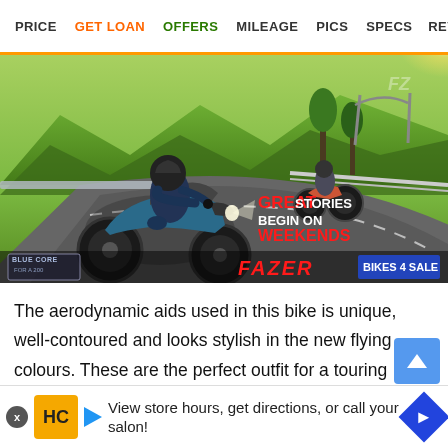PRICE  GET LOAN  OFFERS  MILEAGE  PICS  SPECS  REVIEW
[Figure (photo): Yamaha Fazer motorcycle riding on a winding mountain road, with a rider in blue jacket and black helmet. Text overlay reads: GREAT STORIES BEGIN ON WEEKENDS. Bottom bar shows Blue Core badge, Fazer logo, and Bikes 4 Sale badge.]
The aerodynamic aids used in this bike is unique, well-contoured and looks stylish in the new flying colours. These are the perfect outfit for a touring machine as strong opposing winds can be unbearable at times.
Chassis, S...
[Figure (infographic): Advertisement banner: HC logo, text 'View store hours, get directions, or call your salon!', blue diamond arrow icon.]